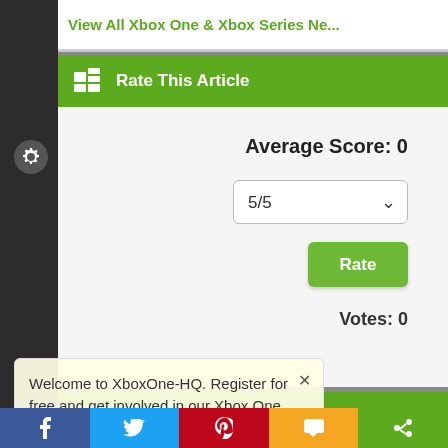View All Xbox One & Xbox Series Ne...
Rate This Article
Average Score: 0
5/5
Rate
Votes: 0
Featured Xbox News...
Welcome to XboxOne-HQ. Register for free and get involved in our Xbox One Community!